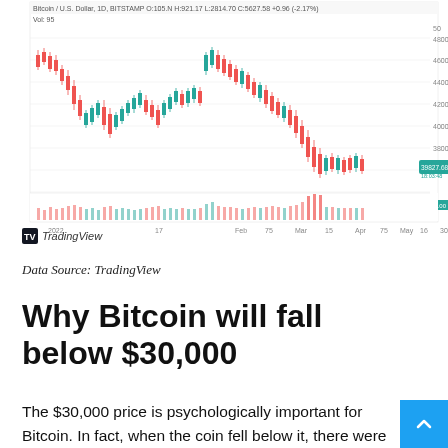[Figure (continuous-plot): Bitcoin / U.S. Dollar (BTC/USD) daily candlestick chart from TradingView, showing price action from January 2022 to approximately May 2022 with volume bars at the bottom. Price peaked around $48,000 in early 2022 and declined toward $28,000–$30,000 by mid-May 2022. Red and green candlesticks with volume histogram below.]
Data Source: TradingView
Why Bitcoin will fall below $30,000
The $30,000 price is psychologically important for Bitcoin. In fact, when the coin fell below it, there were fears that it could